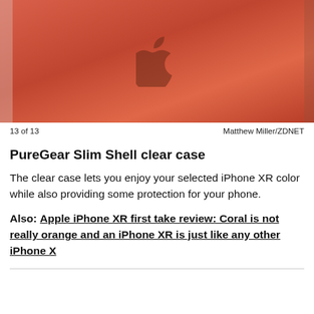[Figure (photo): Photo of coral/orange iPhone XR back showing Apple logo, with a clear case on it, partial side profile visible on left and right edges.]
13 of 13    Matthew Miller/ZDNET
PureGear Slim Shell clear case
The clear case lets you enjoy your selected iPhone XR color while also providing some protection for your phone.
Also: Apple iPhone XR first take review: Coral is not really orange and an iPhone XR is just like any other iPhone X